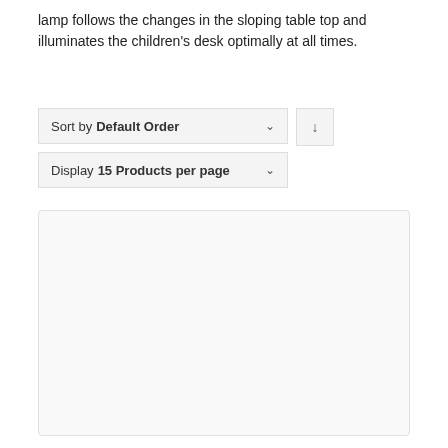lamp follows the changes in the sloping table top and illuminates the children's desk optimally at all times.
Sort by Default Order
Display 15 Products per page
[Figure (screenshot): Cookie consent dialog overlay with German text: 'Diese Seite verwendet Cookies, durch die weitere Nutzung der Seite stimmen Sie der Verwendung von Cookies zu Weitere Informationen finden Sie in unserer Datenschutzerklärung' and an 'Akzeptieren' button.]